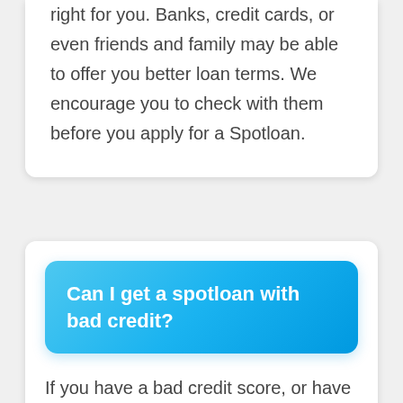right for you. Banks, credit cards, or even friends and family may be able to offer you better loan terms. We encourage you to check with them before you apply for a Spotloan.
Can I get a spotloan with bad credit?
If you have a bad credit score, or have not borrowed before, Spotloan can